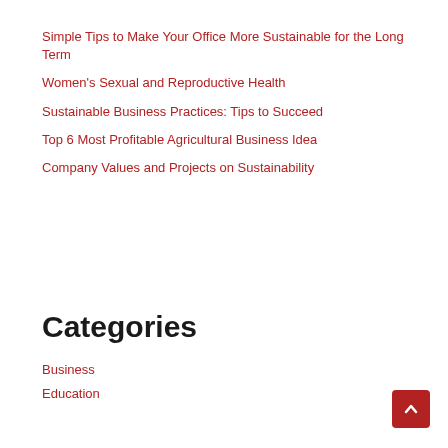Simple Tips to Make Your Office More Sustainable for the Long Term
Women's Sexual and Reproductive Health
Sustainable Business Practices: Tips to Succeed
Top 6 Most Profitable Agricultural Business Idea
Company Values and Projects on Sustainability
Categories
Business
Education